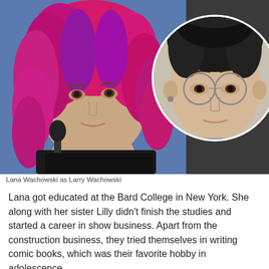[Figure (photo): Side-by-side comparison photo: on the left, Lana Wachowski (present day) with bright pink/magenta dreadlocks, speaking into a microphone, wearing dark clothing; on the right, a circular inset photo of Larry Wachowski (earlier years) with dark hair in a bun, round wire-framed glasses, an earring, and a dark sweater.]
Lana Wachowski as Larry Wachowski
Lana got educated at the Bard College in New York. She along with her sister Lilly didn't finish the studies and started a career in show business. Apart from the construction business, they tried themselves in writing comic books, which was their favorite hobby in adolescence.